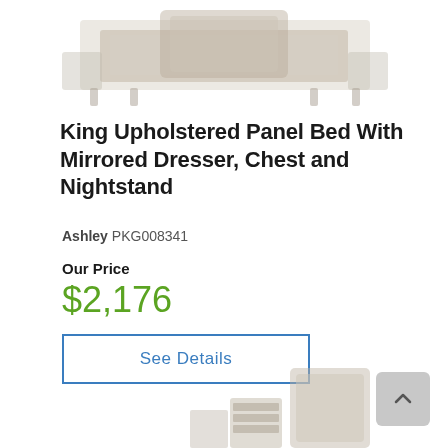[Figure (photo): Top portion of a king upholstered panel bed with mirrored dresser, chest and nightstand set — showing the upper bed frame, headboard, and side pieces on white background]
King Upholstered Panel Bed With Mirrored Dresser, Chest and Nightstand
Ashley PKG008341
Our Price
$2,176
See Details
[Figure (photo): Bottom portion showing the full bedroom set including chest, upholstered bed, mirror dresser, and nightstand arranged together on white background]